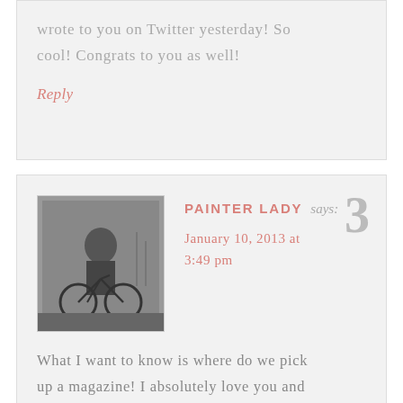wrote to you on Twitter yesterday! So cool! Congrats to you as well!
Reply
PAINTER LADY says: January 10, 2013 at 3:49 pm
[Figure (photo): Black and white vintage photo of a person with a bicycle]
3
What I want to know is where do we pick up a magazine! I absolutely love you and I'm soooo proud of you!